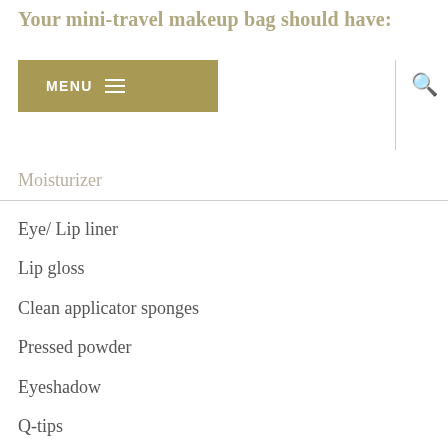Your mini-travel makeup bag should have:
Moisturizer
Eye/ Lip liner
Lip gloss
Clean applicator sponges
Pressed powder
Eyeshadow
Q-tips
Lipstick
Bronzer/Highlighter